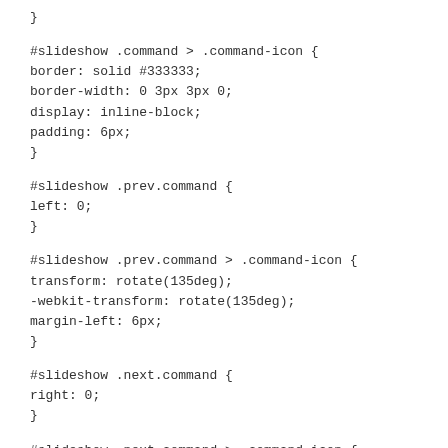}
#slideshow .command > .command-icon {
border: solid #333333;
border-width: 0 3px 3px 0;
display: inline-block;
padding: 6px;
}
#slideshow .prev.command {
left: 0;
}
#slideshow .prev.command > .command-icon {
transform: rotate(135deg);
-webkit-transform: rotate(135deg);
margin-left: 6px;
}
#slideshow .next.command {
right: 0;
}
#slideshow .next.command > .command-icon {
transform: rotate(-45deg);
-webkit-transform: rotate(-45deg);
margin-right: 6px;
}